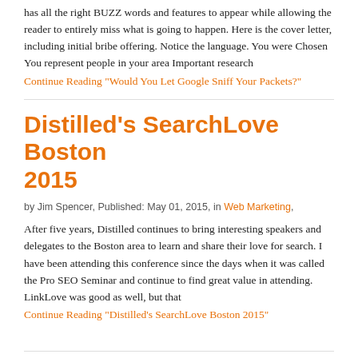has all the right BUZZ words and features to appear while allowing the reader to entirely miss what is going to happen. Here is the cover letter, including initial bribe offering. Notice the language. You were Chosen You represent people in your area Important research
Continue Reading "Would You Let Google Sniff Your Packets?"
Distilled's SearchLove Boston 2015
by Jim Spencer, Published: May 01, 2015, in Web Marketing,
After five years, Distilled continues to bring interesting speakers and delegates to the Boston area to learn and share their love for search. I have been attending this conference since the days when it was called the Pro SEO Seminar and continue to find great value in attending. LinkLove was good as well, but that
Continue Reading "Distilled's SearchLove Boston 2015"